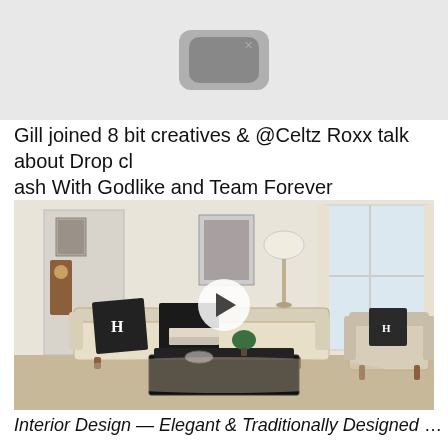[Figure (screenshot): Top portion of a video thumbnail showing a dark rounded rectangle play button icon on a light gray background]
Gill joined 8 bit creatives & @Celtz Roxx talk about Drop clash With Godlike and Team Forever
[Figure (photo): Interior living room photo showing a beige sofa with dark Hermes pillows, dark coffee table with books and a plant, armchair on the right, framed artwork on walls, large windows with white curtains and drapes, with a video play button overlay in the center]
Interior Design — Elegant & Traditionally Designed Small